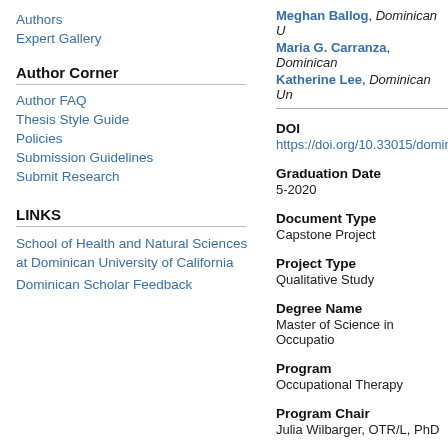Authors
Expert Gallery
Author Corner
Author FAQ
Thesis Style Guide
Policies
Submission Guidelines
Submit Research
LINKS
School of Health and Natural Sciences at Dominican University of California
Dominican Scholar Feedback
Meghan Ballog, Dominican U; Maria G. Carranza, Dominican; Katherine Lee, Dominican Un
DOI
https://doi.org/10.33015/domin
Graduation Date
5-2020
Document Type
Capstone Project
Project Type
Qualitative Study
Degree Name
Master of Science in Occupatio
Program
Occupational Therapy
Program Chair
Julia Wilbarger, OTR/L, PhD